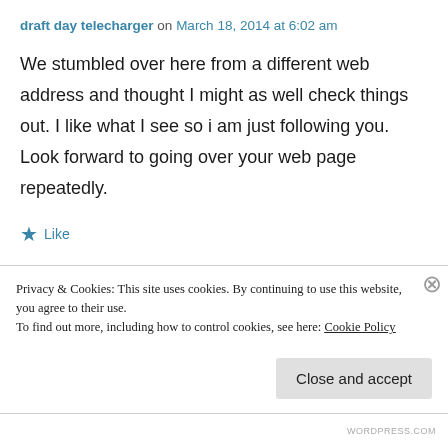draft day telecharger on March 18, 2014 at 6:02 am
We stumbled over here from a different web address and thought I might as well check things out. I like what I see so i am just following you.
Look forward to going over your web page repeatedly.
★ Like
Privacy & Cookies: This site uses cookies. By continuing to use this website, you agree to their use.
To find out more, including how to control cookies, see here: Cookie Policy
Close and accept